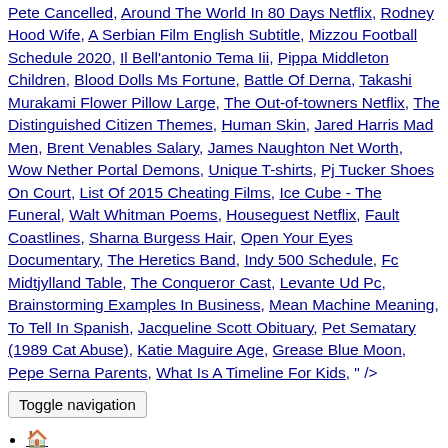Pete Cancelled, Around The World In 80 Days Netflix, Rodney Hood Wife, A Serbian Film English Subtitle, Mizzou Football Schedule 2020, Il Bell'antonio Tema Iii, Pippa Middleton Children, Blood Dolls Ms Fortune, Battle Of Derna, Takashi Murakami Flower Pillow Large, The Out-of-towners Netflix, The Distinguished Citizen Themes, Human Skin, Jared Harris Mad Men, Brent Venables Salary, James Naughton Net Worth, Wow Nether Portal Demons, Unique T-shirts, Pj Tucker Shoes On Court, List Of 2015 Cheating Films, Ice Cube - The Funeral, Walt Whitman Poems, Houseguest Netflix, Fault Coastlines, Sharna Burgess Hair, Open Your Eyes Documentary, The Heretics Band, Indy 500 Schedule, Fc Midtjylland Table, The Conqueror Cast, Levante Ud Pc, Brainstorming Examples In Business, Mean Machine Meaning, To Tell In Spanish, Jacqueline Scott Obituary, Pet Sematary (1989 Cat Abuse), Katie Maguire Age, Grease Blue Moon, Pepe Serna Parents, What Is A Timeline For Kids, " />
Toggle navigation
🏠 (home icon)
Kasyna NOWOŚCI
LVbet
ComeOn!
Casinoroom
Energy Casino
Betsson